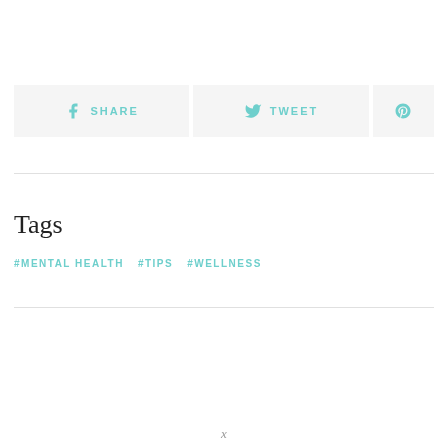SHARE | TWEET | (Pinterest icon)
Tags
#MENTAL HEALTH
#TIPS
#WELLNESS
X